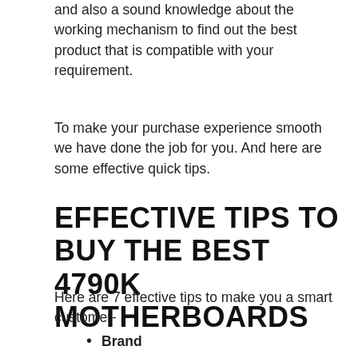and also a sound knowledge about the working mechanism to find out the best product that is compatible with your requirement.
To make your purchase experience smooth we have done the job for you. And here are some effective quick tips.
EFFECTIVE TIPS TO BUY THE BEST 4790K MOTHERBOARDS
Here are 7 effective tips to make you a smart customer-
Brand